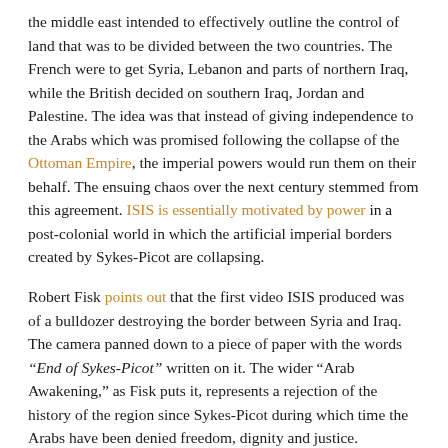the middle east intended to effectively outline the control of land that was to be divided between the two countries. The French were to get Syria, Lebanon and parts of northern Iraq, while the British decided on southern Iraq, Jordan and Palestine. The idea was that instead of giving independence to the Arabs which was promised following the collapse of the Ottoman Empire, the imperial powers would run them on their behalf. The ensuing chaos over the next century stemmed from this agreement. ISIS is essentially motivated by power in a post-colonial world in which the artificial imperial borders created by Sykes-Picot are collapsing.
Robert Fisk points out that the first video ISIS produced was of a bulldozer destroying the border between Syria and Iraq. The camera panned down to a piece of paper with the words "End of Sykes-Picot" written on it. The wider "Arab Awakening," as Fisk puts it, represents a rejection of the history of the region since Sykes-Picot during which time the Arabs have been denied freedom, dignity and justice.
According to Fisk, ISIS is a weapon that’s not primarily aimed at the West but at the Shia, which the Sunni Gulf States fear as much as Israel.